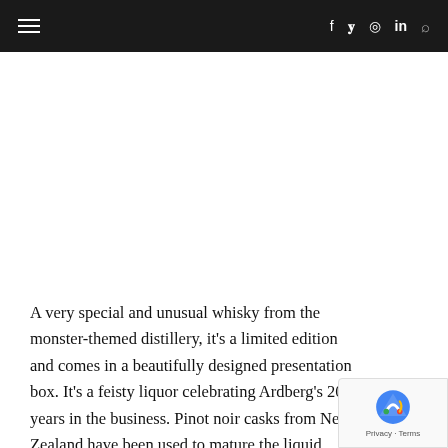≡  f  twitter  instagram  in  search
A very special and unusual whisky from the monster-themed distillery, it's a limited edition and comes in a beautifully designed presentation box. It's a feisty liquor celebrating Ardberg's 20 years in the business. Pinot noir casks from New Zealand have been used to mature the liquid.